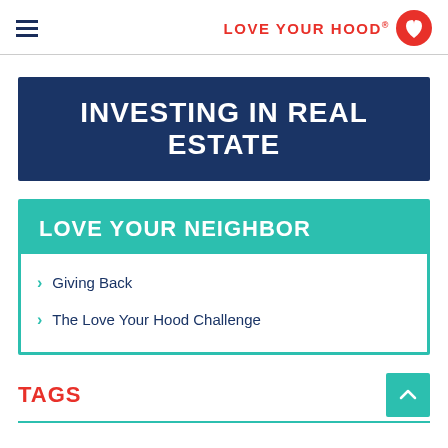LOVE YOUR HOOD
INVESTING IN REAL ESTATE
LOVE YOUR NEIGHBOR
Giving Back
The Love Your Hood Challenge
TAGS